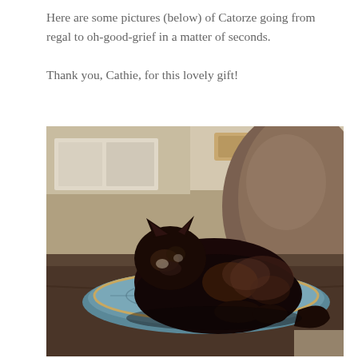Here are some pictures (below) of Catorze going from regal to oh-good-grief in a matter of seconds.

Thank you, Cathie, for this lovely gift!
[Figure (photo): A black and tortoiseshell cat named Catorze lounging regally on a decorative teal/blue cushion on a brown leather sofa, photographed in warm sunlight.]